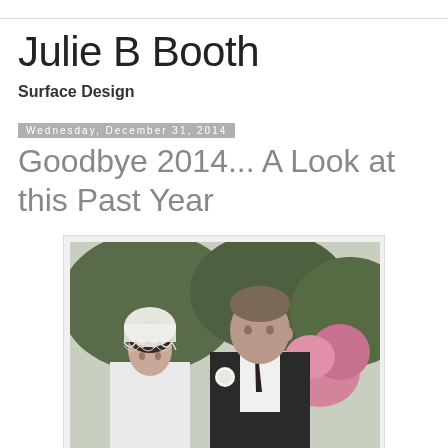Julie B Booth
Surface Design
Wednesday, December 31, 2014
Goodbye 2014... A Look at this Past Year
[Figure (photo): Black and white vintage wedding photo showing a bride wearing a lace veil cap and a groom in a suit with a white boutonniere, standing outdoors with trees and pink flowers in the background.]